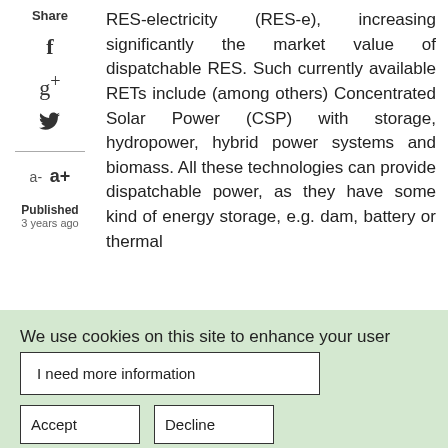Share
f
g+
(twitter bird icon)
a-  a+
Published
3 years ago
RES-electricity (RES-e), increasing significantly the market value of dispatchable RES. Such currently available RETs include (among others) Concentrated Solar Power (CSP) with storage, hydropower, hybrid power systems and biomass. All these technologies can provide dispatchable power, as they have some kind of energy storage, e.g. dam, battery or thermal
We use cookies on this site to enhance your user experience
By clicking the Accept button, you agree to us doing so.
I need more information
Accept
Decline